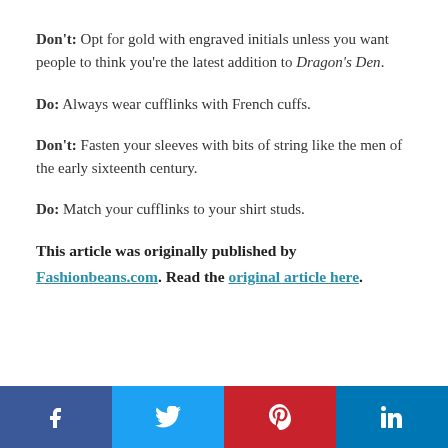Don't: Opt for gold with engraved initials unless you want people to think you're the latest addition to Dragon's Den.
Do: Always wear cufflinks with French cuffs.
Don't: Fasten your sleeves with bits of string like the men of the early sixteenth century.
Do: Match your cufflinks to your shirt studs.
This article was originally published by Fashionbeans.com. Read the original article here.
[Figure (infographic): Social sharing buttons for Facebook, Twitter, Pinterest, and LinkedIn]